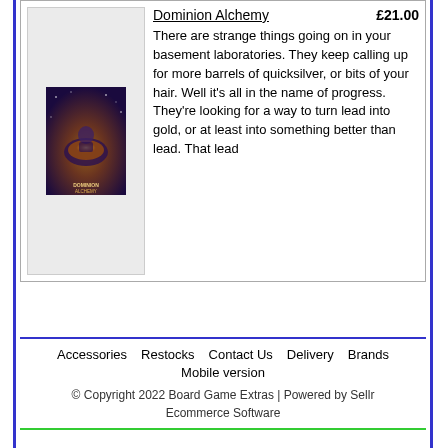[Figure (photo): Book cover of Dominion Alchemy board game expansion, dark purple and gold tones with alchemist imagery]
Dominion Alchemy   £21.00
There are strange things going on in your basement laboratories. They keep calling up for more barrels of quicksilver, or bits of your hair. Well it's all in the name of progress. They're looking for a way to turn lead into gold, or at least into something better than lead. That lead
Accessories   Restocks   Contact Us   Delivery   Brands
Mobile version
© Copyright 2022 Board Game Extras | Powered by Sellr Ecommerce Software